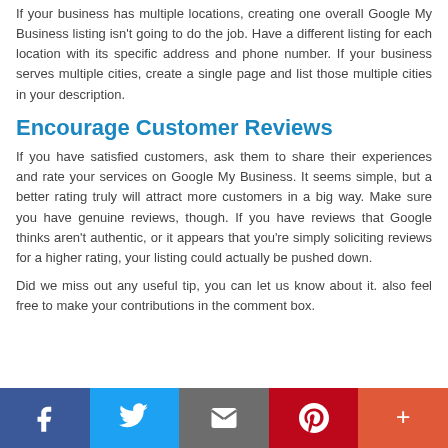If your business has multiple locations, creating one overall Google My Business listing isn't going to do the job. Have a different listing for each location with its specific address and phone number. If your business serves multiple cities, create a single page and list those multiple cities in your description.
Encourage Customer Reviews
If you have satisfied customers, ask them to share their experiences and rate your services on Google My Business. It seems simple, but a better rating truly will attract more customers in a big way. Make sure you have genuine reviews, though. If you have reviews that Google thinks aren't authentic, or it appears that you're simply soliciting reviews for a higher rating, your listing could actually be pushed down.
Did we miss out any useful tip, you can let us know about it. also feel free to make your contributions in the comment box.
[Figure (infographic): Social media share bar with Facebook, Twitter, Email, Pinterest, and More (+) buttons]